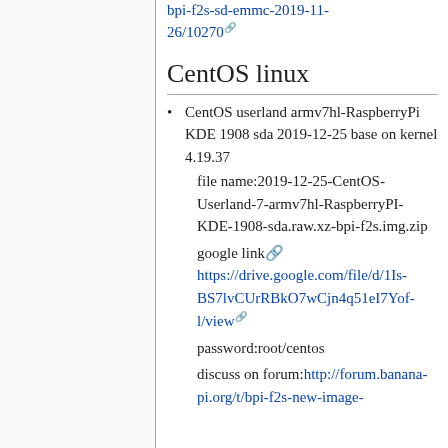bpi-f2s-sd-emmc-2019-11-26/10270
CentOS linux
CentOS userland armv7hl-RaspberryPi KDE 1908 sda 2019-12-25 base on kernel 4.19.37
file name:2019-12-25-CentOS-Userland-7-armv7hl-RaspberryPI-KDE-1908-sda.raw.xz-bpi-f2s.img.zip
google link
https://drive.google.com/file/d/1Is-BS7lvCUrRBkO7wCjn4q51eI7Yof-l/view
password:root/centos
discuss on forum:http://forum.banana-pi.org/t/bpi-f2s-new-image-